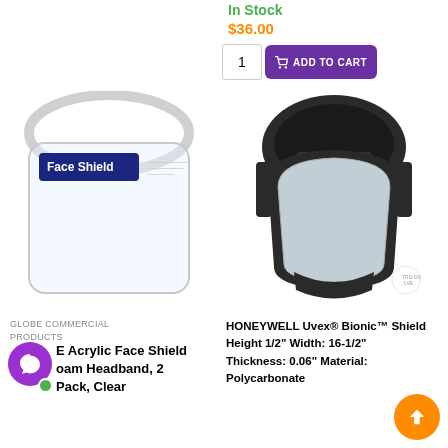In Stock
$36.00
1  ADD TO CART
[Figure (photo): Clear acrylic face shield with white headband and blue label reading 'Face Shield']
[Figure (photo): Honeywell Uvex Bionic Shield with dark headgear and clear polycarbonate visor]
GLOBE COMMERCIAL PRODUCTS
Acrylic Face Shield Foam Headband, 2 Pack, Clear
HONEYWELL Uvex® Bionic™ Shield Height 1/2" Width: 16-1/2" Thickness: 0.06" Material: Polycarbonate